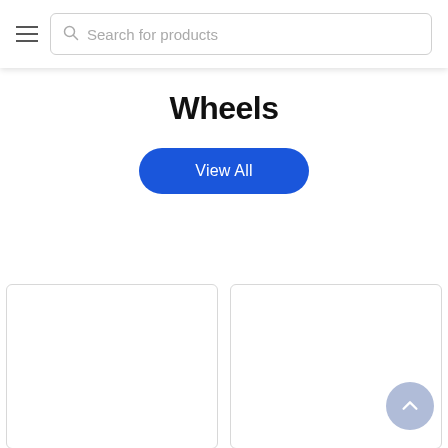Search for products
Wheels
View All
[Figure (other): Two empty product card placeholders arranged side by side in a grid layout]
[Figure (other): Scroll-to-top button circle with upward chevron arrow]